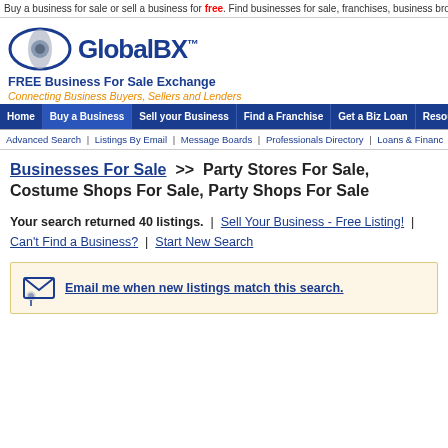Buy a business for sale or sell a business for free. Find businesses for sale, franchises, business brokers &
[Figure (logo): GlobalBX logo with eye graphic, FREE Business For Sale Exchange, Connecting Business Buyers, Sellers and Lenders]
Home | Buy a Business | Sell your Business | Find a Franchise | Get a Biz Loan | Resource Center
Advanced Search | Listings By Email | Message Boards | Professionals Directory | Loans & Financ
Businesses For Sale >> Party Stores For Sale, Costume Shops For Sale, Party Shops For Sale
Your search returned 40 listings. | Sell Your Business - Free Listing! | Can't Find a Business? | Start New Search
Email me when new listings match this search.